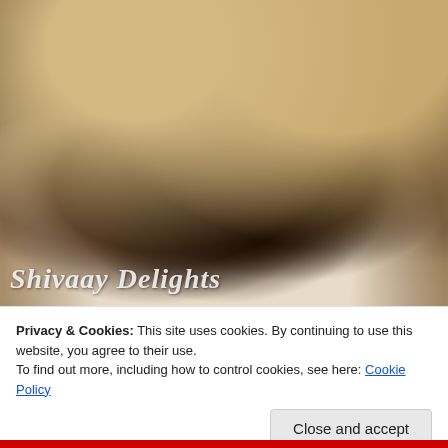[Figure (photo): Close-up photo of a sandwich with dark mushroom or meat filling, melted cheese, and flat bread/ciabatta, served on a white plate. The image has a watermark 'Shivaay Delights' in italic white text at the bottom left.]
Privacy & Cookies: This site uses cookies. By continuing to use this website, you agree to their use.
To find out more, including how to control cookies, see here: Cookie Policy
Close and accept